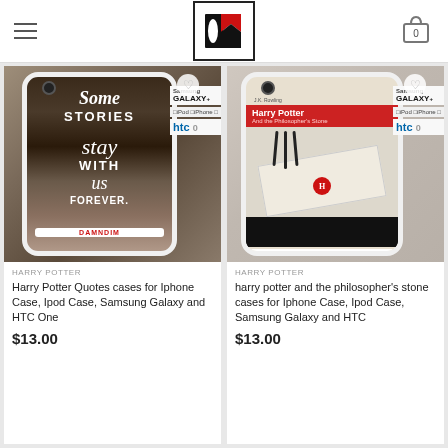[Figure (logo): DamnDim logo with red and black M letter mark inside a bordered square]
[Figure (photo): Harry Potter Quotes phone case showing stacked books with text: Some Stories stay WITH us FOREVER]
HARRY POTTER
Harry Potter Quotes cases for Iphone Case, Ipod Case, Samsung Galaxy and HTC One
$13.00
[Figure (photo): Harry Potter and the Philosopher's Stone phone case showing owl claws holding envelope with H seal and castle silhouette]
HARRY POTTER
harry potter and the philosopher's stone cases for Iphone Case, Ipod Case, Samsung Galaxy and HTC
$13.00